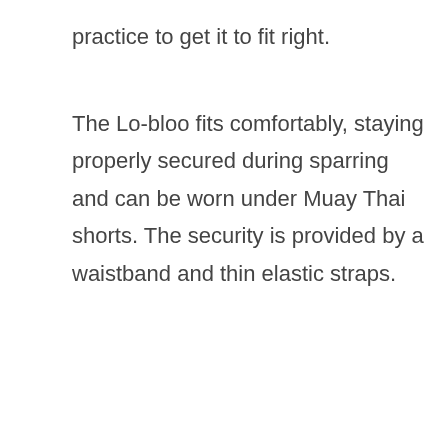practice to get it to fit right.
The Lo-bloo fits comfortably, staying properly secured during sparring and can be worn under Muay Thai shorts. The security is provided by a waistband and thin elastic straps.